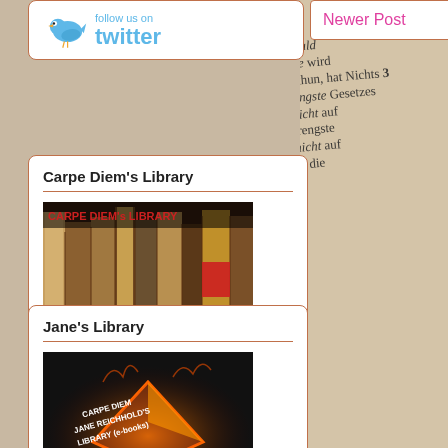[Figure (screenshot): Follow us on Twitter banner with blue bird logo]
Newer Post
Carpe Diem's Library
[Figure (photo): Row of old antique leather-bound books with text CARPE DIEM's LIBRARY in red]
a rich source of beauty
Jane's Library
[Figure (photo): Dark background with glowing orange diamond/triangle shape and text CARPE DIEM JANE REICHHOLD'S LIBRARY (e-books)]
the e-books by Jane Reichhold